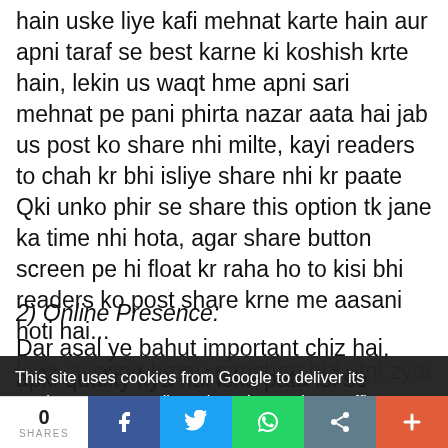hain uske liye kafi mehnat karte hain aur apni taraf se best karne ki koshish krte hain, lekin us waqt hme apni sari mehnat pe pani phirta nazar aata hai jab us post ko share nhi milte, kayi readers to chah kr bhi isliye share nhi kr paate Qki unko phir se share this option tk jane ka time nhi hota, agar share button screen pe hi float kr raha ho to kisi bhi readers ko post share krne me aasani hoti hai...
2) Online Presence:
Dar asal ye bahut important chiz hai, apki quality kya hai iska pata isi se chalta hai, Social media hme ek big platform deta hai, hmare post jitne zyada share kiye jayenge hmari pahchan bhi utni zyada banegi lagenge...
This site uses cookies from Google to deliver its services, to personalize ads and to analyze traffic. Information about your use of this site is shared with Google. By using this site, you
0 SHARES | f | t | (whatsapp) | (google) | +